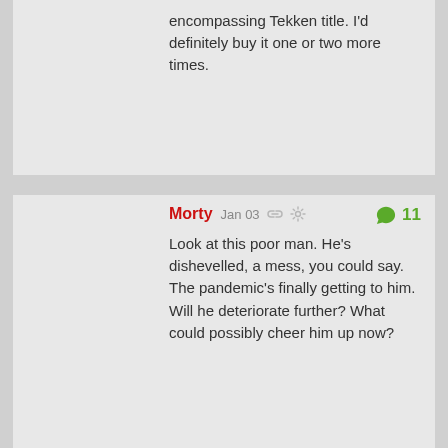encompassing Tekken title. I'd definitely buy it one or two more times.
Morty   Jan 03   💬 11

Look at this poor man. He's dishevelled, a mess, you could say. The pandemic's finally getting to him. Will he deteriorate further? What could possibly cheer him up now?
[Figure (photo): Avatar image: cartoon-style illustration with 'WORD' text, red background, character figure]
70
[Figure (photo): Photo of a person's head with very messy, dishevelled curly hair sticking up in all directions, photographed against a neutral background]